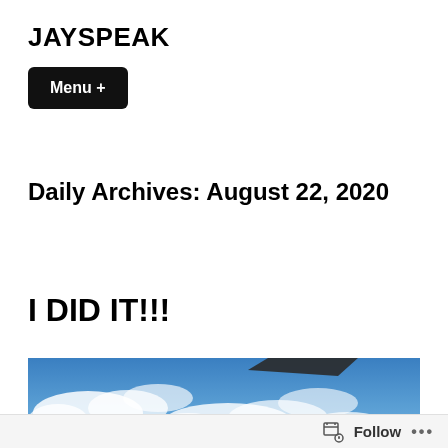JAYSPEAK
Menu +
Daily Archives: August 22, 2020
I DID IT!!!
[Figure (photo): Sky photo looking upward at blue sky with white clouds and a dark object (possibly a book or flat surface) visible at the top edge of the frame. Buildings visible at lower right corner.]
Follow ...